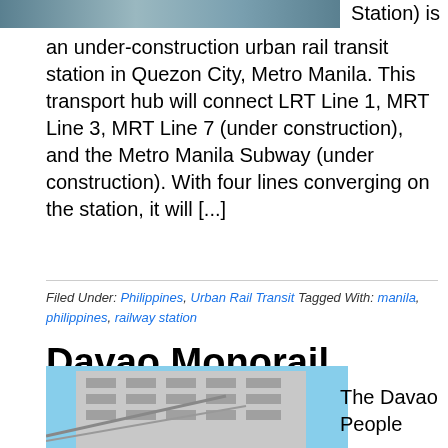[Figure (photo): Top partial photo of transit station]
Station) is an under-construction urban rail transit station in Quezon City, Metro Manila. This transport hub will connect LRT Line 1, MRT Line 3, MRT Line 7 (under construction), and the Metro Manila Subway (under construction). With four lines converging on the station, it will [...]
Filed Under: Philippines, Urban Rail Transit Tagged With: manila, philippines, railway station
Davao Monorail
June 1, 2021 By James Clark — 1 Comment
[Figure (photo): Partial photo of Davao People building]
The Davao People